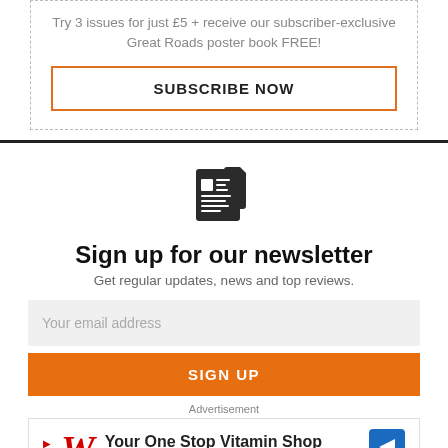Try 3 issues for just £5 + receive our subscriber-exclusive Great Roads poster book FREE!
SUBSCRIBE NOW
[Figure (illustration): Newspaper/newsletter icon]
Sign up for our newsletter
Get regular updates, news and top reviews.
Your email address
SIGN UP
Advertisement
[Figure (other): Walgreens Photo advertisement: Your One Stop Vitamin Shop]